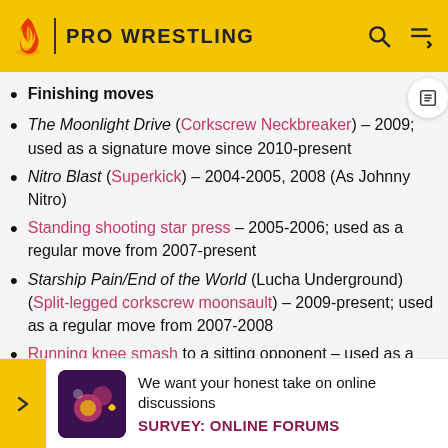PRO WRESTLING
Finishing moves
The Moonlight Drive (Corkscrew Neckbreaker) - 2009; used as a signature move since 2010-present
Nitro Blast (Superkick) - 2004-2005, 2008 (As Johnny Nitro)
Standing shooting star press – 2005-2006; used as a regular move from 2007-present
Starship Pain/End of the World (Lucha Underground) (Split-legged corkscrew moonsault) – 2009-present; used as a regular move from 2007-2008
Running knee smash to a sitting opponent – used as a
S
18
We want your honest take on online discussions SURVEY: ONLINE FORUMS